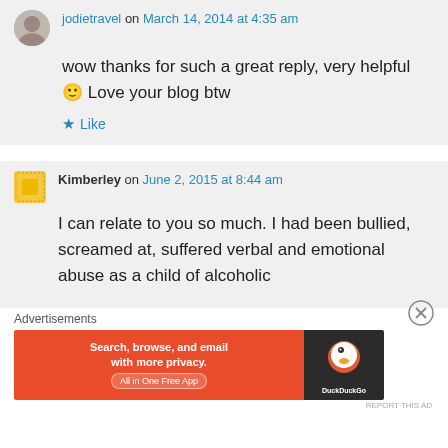jodietravel on March 14, 2014 at 4:35 am
wow thanks for such a great reply, very helpful 🙂 Love your blog btw
Like
Kimberley on June 2, 2015 at 8:44 am
I can relate to you so much. I had been bullied, screamed at, suffered verbal and emotional abuse as a child of alcoholic
Advertisements
[Figure (screenshot): DuckDuckGo ad banner: orange left side with text 'Search, browse, and email with more privacy. All in One Free App', dark right side with DuckDuckGo duck logo and brand name.]